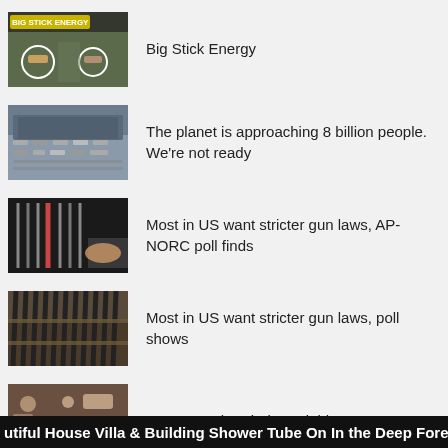[Figure (photo): Thumbnail: Big Stick Energy video thumbnail with text overlay BIG STICK ENERGY on yellow/green background, person holding a stick]
Big Stick Energy
[Figure (photo): Thumbnail: Aerial view of dense traffic or crowded urban area representing population]
The planet is approaching 8 billion people. We're not ready
[Figure (photo): Thumbnail: Person browsing guns at a gun shop counter]
Most in US want stricter gun laws, AP-NORC poll finds
[Figure (photo): Thumbnail: Rifles displayed on a rack in a gun shop]
Most in US want stricter gun laws, poll shows
[Figure (photo): Thumbnail: Biodegradable soap making ingredients]
How To Make Biodegradable Soap
utiful House Villa & Building Shower Tube On In the Deep Forest